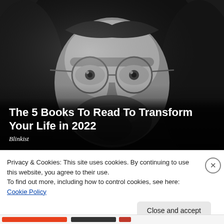[Figure (photo): Black and white close-up photo of a man with long hair and round wire-frame glasses, looking slightly upward.]
The 5 Books To Read To Transform Your Life in 2022
Blinkist
Privacy & Cookies: This site uses cookies. By continuing to use this website, you agree to their use.
To find out more, including how to control cookies, see here: Cookie Policy
Close and accept